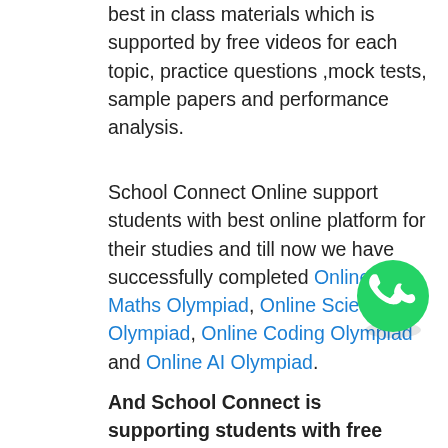best in class materials which is supported by free videos for each topic, practice questions ,mock tests, sample papers and performance analysis.
School Connect Online support students with best online platform for their studies and till now we have successfully completed Online Maths Olympiad, Online Science Olympiad, Online Coding Olympiad and Online AI Olympiad.
[Figure (logo): WhatsApp logo — green circle with white phone handset icon]
And School Connect is supporting students with free Practice Questions,